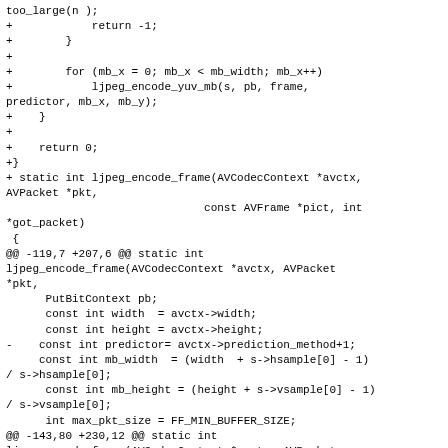Diff/patch code block showing changes to ljpeg_encode_frame function in a C source file, including added lines with + prefix, removed lines with - prefix, and hunk headers with @@ markers.